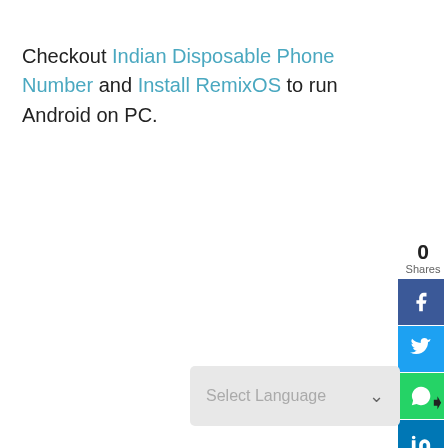Checkout Indian Disposable Phone Number and Install RemixOS to run Android on PC.
[Figure (infographic): Social share sidebar with share count (0 Shares), Facebook, Twitter, WhatsApp, LinkedIn, Mix, Buffer, and Share buttons]
[Figure (screenshot): Select Language dropdown widget at the bottom of the page]